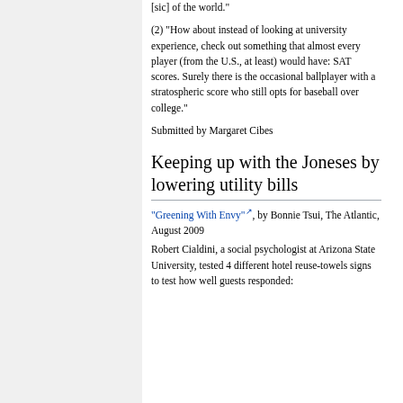[sic] of the world."
(2) "How about instead of looking at university experience, check out something that almost every player (from the U.S., at least) would have: SAT scores. Surely there is the occasional ballplayer with a stratospheric score who still opts for baseball over college."
Submitted by Margaret Cibes
Keeping up with the Joneses by lowering utility bills
"Greening With Envy", by Bonnie Tsui, The Atlantic, August 2009
Robert Cialdini, a social psychologist at Arizona State University, tested 4 different hotel reuse-towels signs to test how well guests responded: